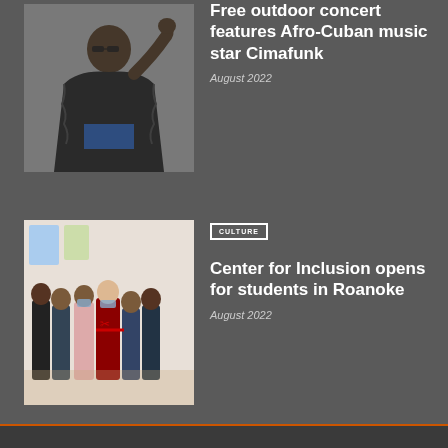[Figure (photo): Man in sunglasses and black fur coat posing with fist raised]
Free outdoor concert features Afro-Cuban music star Cimafunk
August 2022
[Figure (photo): Group of people in masks at a ribbon cutting ceremony inside a building]
CULTURE
Center for Inclusion opens for students in Roanoke
August 2022